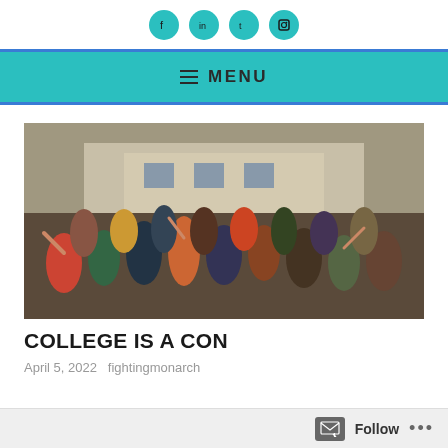Social media icons (Facebook, LinkedIn, Twitter, Instagram)
≡ MENU
[Figure (photo): Group photo of many young men waving and smiling in front of a large house, posed outdoors, vintage/film style photograph]
COLLEGE IS A CON
April 5, 2022   fightingmonarch
Follow ...